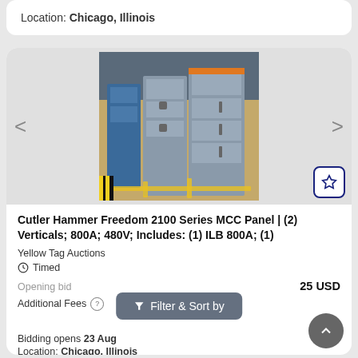Location: Chicago, Illinois
[Figure (photo): Industrial electrical MCC panel cabinets (gray metal enclosures) in a warehouse/factory setting with yellow safety markings on floor]
Cutler Hammer Freedom 2100 Series MCC Panel | (2) Verticals; 800A; 480V; Includes: (1) ILB 800A; (1)
Yellow Tag Auctions
Timed
Opening bid   25 USD
Additional Fees
Filter & Sort by
Bidding opens 23 Aug
Location: Chicago, Illinois